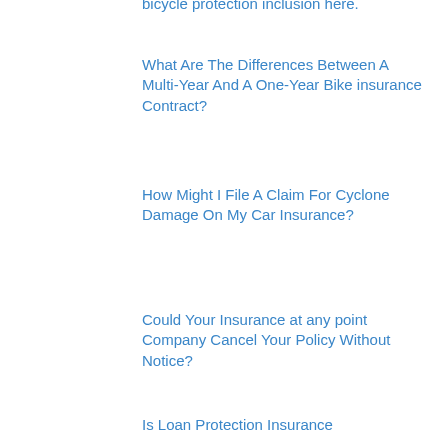bicycle protection inclusion here.
What Are The Differences Between A Multi-Year And A One-Year Bike insurance Contract?
How Might I File A Claim For Cyclone Damage On My Car Insurance?
Could Your Insurance at any point Company Cancel Your Policy Without Notice?
Is Loan Protection Insurance